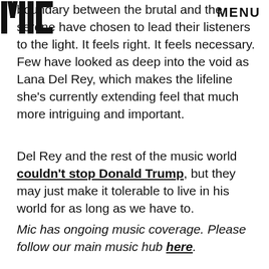MIC | MENU
boundary between the brutal and the serene have chosen to lead their listeners to the light. It feels right. It feels necessary. Few have looked as deep into the void as Lana Del Rey, which makes the lifeline she's currently extending feel that much more intriguing and important.
Del Rey and the rest of the music world couldn't stop Donald Trump, but they may just make it tolerable to live in his world for as long as we have to.
Mic has ongoing music coverage. Please follow our main music hub here.